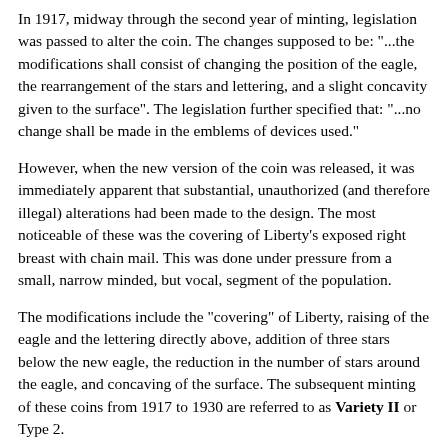In 1917, midway through the second year of minting, legislation was passed to alter the coin. The changes supposed to be: "...the modifications shall consist of changing the position of the eagle, the rearrangement of the stars and lettering, and a slight concavity given to the surface". The legislation further specified that: "...no change shall be made in the emblems of devices used."
However, when the new version of the coin was released, it was immediately apparent that substantial, unauthorized (and therefore illegal) alterations had been made to the design. The most noticeable of these was the covering of Liberty's exposed right breast with chain mail. This was done under pressure from a small, narrow minded, but vocal, segment of the population.
The modifications include the "covering" of Liberty, raising of the eagle and the lettering directly above, addition of three stars below the new eagle, the reduction in the number of stars around the eagle, and concaving of the surface. The subsequent minting of these coins from 1917 to 1930 are referred to as Variety II or Type 2.
In 1925, the pedestal, upon which Liberty stands, was recessed to prevent the date from wearing so rapidly; but, the change was so minor that no new design type is recognized.
The Liberty Standing Quarter was designed by Herman A.